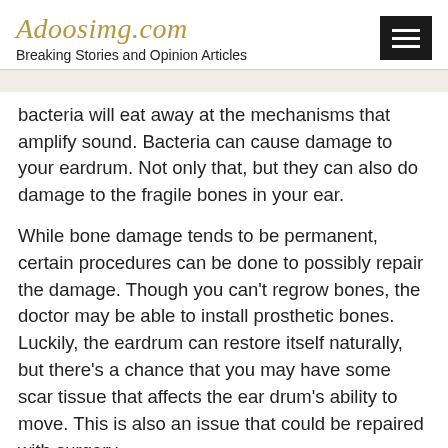Adoosimg.com
Breaking Stories and Opinion Articles
bacteria will eat away at the mechanisms that amplify sound. Bacteria can cause damage to your eardrum. Not only that, but they can also do damage to the fragile bones in your ear.
While bone damage tends to be permanent, certain procedures can be done to possibly repair the damage. Though you can't regrow bones, the doctor may be able to install prosthetic bones. Luckily, the eardrum can restore itself naturally, but there's a chance that you may have some scar tissue that affects the ear drum's ability to move. This is also an issue that could be repaired with surgery.